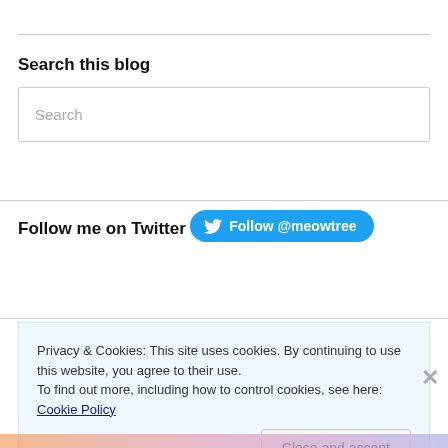Search this blog
Search
Follow me on Twitter
[Figure (other): Twitter Follow button with bird icon and text 'Follow @meowtree' on blue rounded button]
Privacy & Cookies: This site uses cookies. By continuing to use this website, you agree to their use.
To find out more, including how to control cookies, see here: Cookie Policy
Close and accept